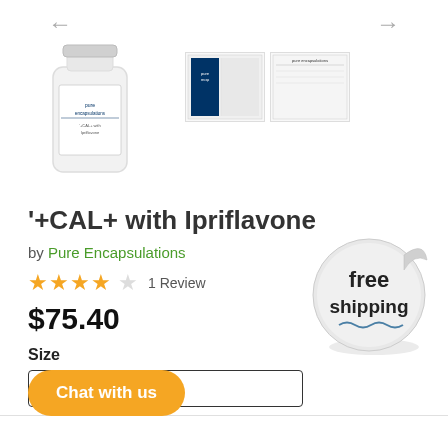[Figure (photo): Product image of Pure Encapsulations supplement bottle (white cylindrical bottle with label), plus thumbnail images of front and back labels on the right side. Navigation arrows at top.]
'+CAL+ with Ipriflavone
by Pure Encapsulations
★★★★☆  1 Review
$75.40
Size
210 CAPSULES
[Figure (other): Free shipping badge sticker — circular sticker with peeling corner effect, reading 'free shipping' in bold dark text with wavy underline]